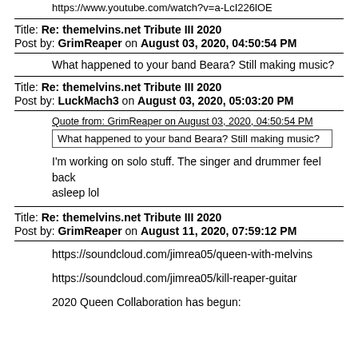https://www.youtube.com/watch?v=a-LcI226lOE
Title: Re: themelvins.net Tribute III 2020
Post by: GrimReaper on August 03, 2020, 04:50:54 PM
What happened to your band Beara? Still making music?
Title: Re: themelvins.net Tribute III 2020
Post by: LuckMach3 on August 03, 2020, 05:03:20 PM
Quote from: GrimReaper on August 03, 2020, 04:50:54 PM
What happened to your band Beara? Still making music?
I'm working on solo stuff.  The singer and drummer feel back asleep lol
Title: Re: themelvins.net Tribute III 2020
Post by: GrimReaper on August 11, 2020, 07:59:12 PM
https://soundcloud.com/jimrea05/queen-with-melvins
https://soundcloud.com/jimrea05/kill-reaper-guitar
2020 Queen Collaboration has begun: